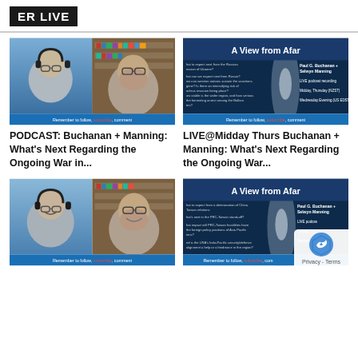ER LIVE
[Figure (screenshot): Video thumbnail showing two men in a video podcast, one wearing headphones on the left and another on the right with glasses and beard. Bottom bar reads 'Remember to follow, subscribe, comment']
PODCAST: Buchanan + Manning: What's Next Regarding the Ongoing War in...
[Figure (screenshot): Video thumbnail for 'A View from Afar' featuring Paul G. Buchanan + Selwyn Manning, LIVE podcast recording, Midday Thursday (NZST), Wednesday Evening (US EDST). Bottom bar reads 'Remember to follow, subscribe, comment']
LIVE@Midday Thurs Buchanan + Manning: What's Next Regarding the Ongoing War...
[Figure (screenshot): Video thumbnail showing two men smiling in a video podcast, one wearing headphones on the left and another on the right with glasses. Bottom bar reads 'Remember to follow, subscribe, comment']
[Figure (screenshot): Video thumbnail for 'A View from Afar' featuring Paul G. Buchanan + Selwyn Manning, LIVE podcast, Midday Thursday, Wednesday. Topics about China-Taiwan relations. Bottom bar reads 'Remember to follow, subscribe, com...' with reCAPTCHA Privacy Terms overlay in corner]